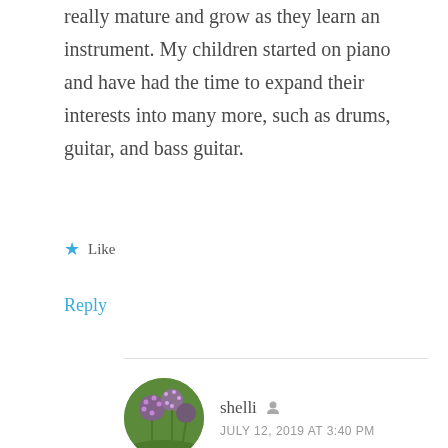really mature and grow as they learn an instrument. My children started on piano and have had the time to expand their interests into many more, such as drums, guitar, and bass guitar.
★ Like
Reply
shelli  🧑 JULY 12, 2019 AT 3:40 PM
Hi Amy! Thanks so much for your comment. It's great to hear from you. Yes, isn't it wonderful how homeschooling allows our children the time they really need to flourish. It's great that your kids enjoy music so much.